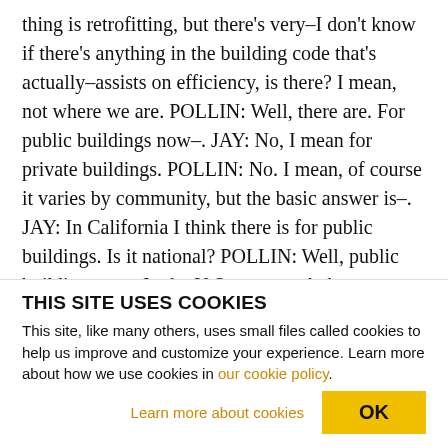thing is retrofitting, but there's very–I don't know if there's anything in the building code that's actually–assists on efficiency, is there? I mean, not where we are. POLLIN: Well, there are. For public buildings now–. JAY: No, I mean for private buildings. POLLIN: No. I mean, of course it varies by community, but the basic answer is–. JAY: In California I think there is for public buildings. Is it national? POLLIN: Well, public buildings, yes. In the U.S. now we do have standards. We are getting to more efficient buildings, but not efficient enough. Like I said. Germany's
THIS SITE USES COOKIES
This site, like many others, uses small files called cookies to help us improve and customize your experience. Learn more about how we use cookies in our cookie policy.
Learn more about cookies
OK